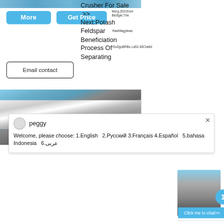[Figure (screenshot): Website screenshot showing mining/crushing equipment product page with navigation buttons (More, Get Price, Email contact), overlapping text fragments, chat popup with peggy, machinery images, and right sidebar with crusher navigation links]
More
Get Price
Email contact
feerg.2021from
Blo0ger,The
fhaeMagylwas
fSo0guBRBo La52.40Chafid
Crusher For Sale >>
Next:Potash Feldspar Beneficiation Process Of Separating
peggy
Welcome, please choose: 1.English  2.Русский 3.Français 4.Español  5.bahasa Indonesia  6.عربى
1
Click me to chat>>
Enquiry
mumumugoods